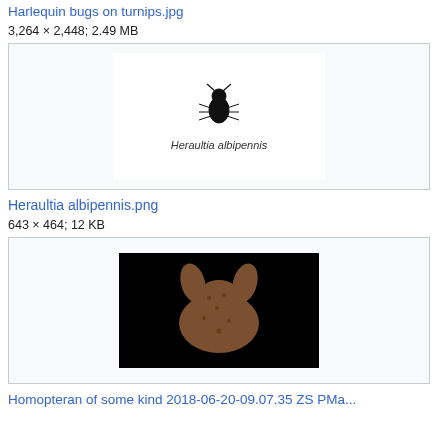Harlequin bugs on turnips.jpg
3,264 × 2,448; 2.49 MB
[Figure (illustration): Thumbnail box showing illustration of Heraulia albipennis insect with label text below]
Heraulia albipennis.png
643 × 464; 12 KB
[Figure (photo): Dark background photo of a homopteran insect, brown textured body against black]
Homopteran of some kind 2018-06-20-09.07.35 ZS PMa...